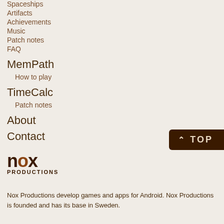Spaceships
Artifacts
Achievements
Music
Patch notes
FAQ
MemPath
How to play
TimeCalc
Patch notes
About
Contact
[Figure (logo): Nox Productions logo with stylized 'nox' text and 'PRODUCTIONS' subtitle]
Nox Productions develop games and apps for Android. Nox Productions is founded and has its base in Sweden.